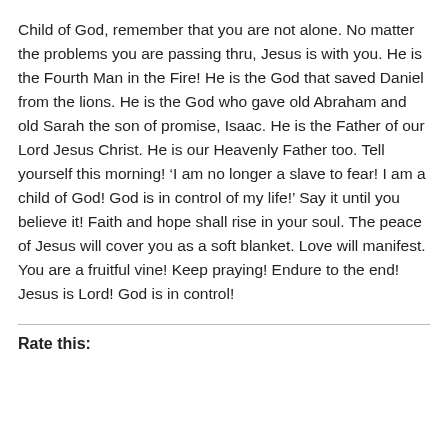Child of God, remember that you are not alone. No matter the problems you are passing thru, Jesus is with you. He is the Fourth Man in the Fire! He is the God that saved Daniel from the lions. He is the God who gave old Abraham and old Sarah the son of promise, Isaac. He is the Father of our Lord Jesus Christ. He is our Heavenly Father too. Tell yourself this morning! ‘I am no longer a slave to fear! I am a child of God! God is in control of my life!’ Say it until you believe it! Faith and hope shall rise in your soul. The peace of Jesus will cover you as a soft blanket. Love will manifest. You are a fruitful vine! Keep praying! Endure to the end! Jesus is Lord! God is in control!
Rate this: